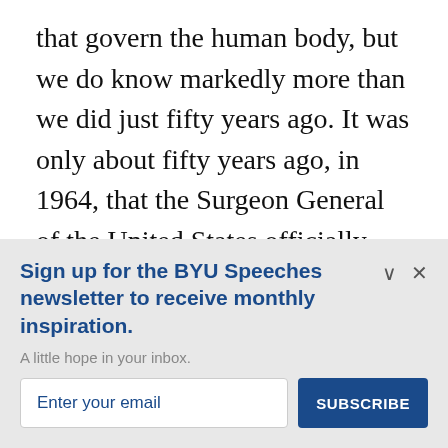that govern the human body, but we do know markedly more than we did just fifty years ago. It was only about fifty years ago, in 1964, that the Surgeon General of the United States officially declared that cigarette smoking is hazardous to health.¹⁰ Of course members of the Church had inside information from the Lord, who revealed this law to His Saints
Sign up for the BYU Speeches newsletter to receive monthly inspiration.
A little hope in your inbox.
Enter your email
SUBSCRIBE